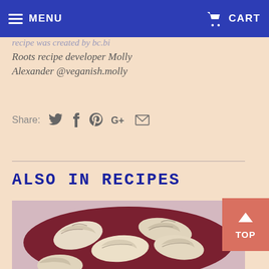MENU   CART
recipe was created by bc.bi
Roots recipe developer Molly Alexander @veganish.molly
Share: [twitter] [facebook] [pinterest] [google+] [email]
ALSO IN RECIPES
[Figure (photo): Photo of dumplings on a dark red/maroon plate, viewed from above. Five dumplings with folded/pleated tops arranged on the plate.]